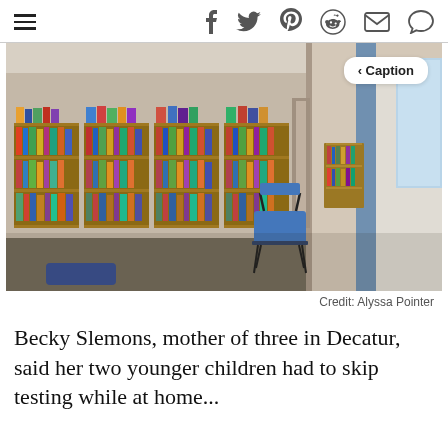≡  f  🐦  p  reddit  ✉  💬
[Figure (photo): Interior of a school or public library showing rows of wooden bookshelves filled with colorful books, a blue chair in the foreground, and a hallway visible on the right. A 'Caption' button is overlaid in the upper right of the photo.]
Credit: Alyssa Pointer
Becky Slemons, mother of three in Decatur, said her two younger children had to skip testing while at home...